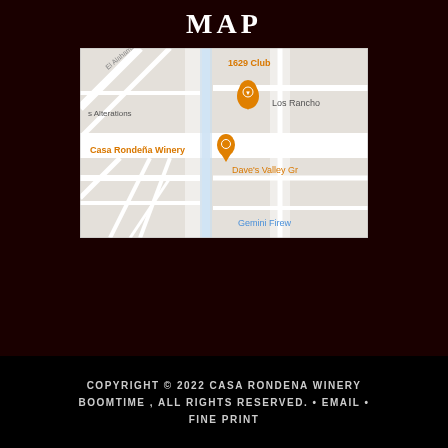MAP
[Figure (map): Google Maps screenshot showing Casa Rondeña Winery location with orange pin markers. Visible labels include '1629 Club', 'Casa Rondeña Winery', 'Los Rancho', 'Dave's Valley Gr', 'Gemini Firew', 's Alterations', 'El Alahambra C'. Street grid visible with light gray and white road lines.]
COPYRIGHT © 2022 CASA RONDENA WINERY BOOMTIME , ALL RIGHTS RESERVED. • EMAIL • FINE PRINT